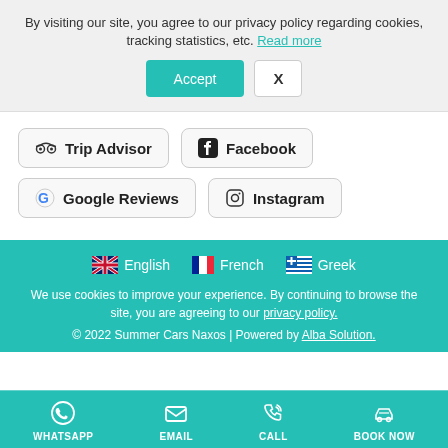By visiting our site, you agree to our privacy policy regarding cookies, tracking statistics, etc. Read more
Accept | X
Trip Advisor
Facebook
Google Reviews
Instagram
English | French | Greek
We use cookies to improve your experience. By continuing to browse the site, you are agreeing to our privacy policy.
© 2022 Summer Cars Naxos | Powered by Alba Solution.
WHATSAPP | EMAIL | CALL | BOOK NOW